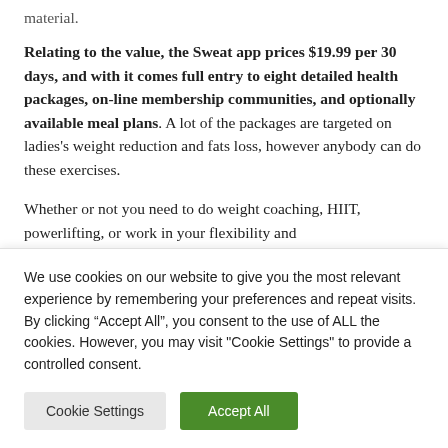material.
Relating to the value, the Sweat app prices $19.99 per 30 days, and with it comes full entry to eight detailed health packages, on-line membership communities, and optionally available meal plans. A lot of the packages are targeted on ladies's weight reduction and fats loss, however anybody can do these exercises.
Whether or not you need to do weight coaching, HIIT, powerlifting, or work in your flexibility and
We use cookies on our website to give you the most relevant experience by remembering your preferences and repeat visits. By clicking "Accept All", you consent to the use of ALL the cookies. However, you may visit "Cookie Settings" to provide a controlled consent.